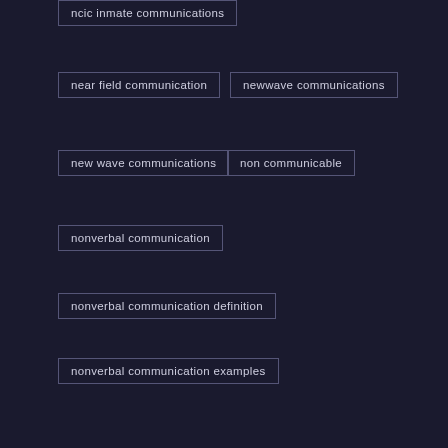ncic inmate communications
near field communication
newwave communications
new wave communications
non communicable
nonverbal communication
nonverbal communication definition
nonverbal communication examples
nonviolent communication
nonviolent communication book
northland communications
northwest communications
nuance communications
one